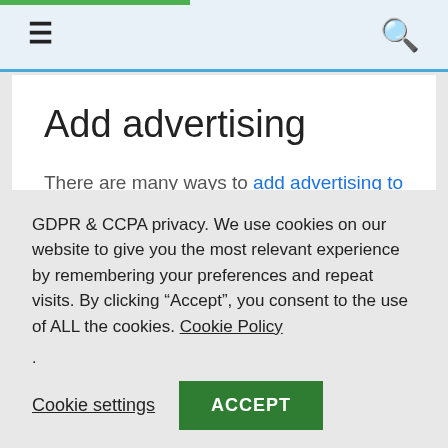≡  🔍
Add advertising
There are many ways to add advertising to a blog.
The most popular is Google Adsense. But there are lots of others that offer banner or link
GDPR & CCPA privacy. We use cookies on our website to give you the most relevant experience by remembering your preferences and repeat visits. By clicking "Accept", you consent to the use of ALL the cookies. Cookie Policy
.
Cookie settings   ACCEPT